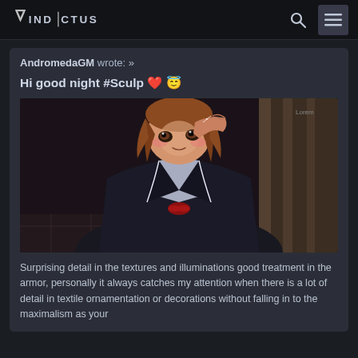VINDICTUS
AndromedaGM wrote: »
Hi good night #Sculp ❤️ 😇
[Figure (illustration): Anime girl character with auburn/brown hair in a dark school uniform with white trim and a red ribbon, saluting or touching her face, with a slight smile. Screenshot from an anime series.]
Surprising detail in the textures and illuminations good treatment in the armor, personally it always catches my attention when there is a lot of detail in textile ornamentation or decorations without falling in to the maximalism as your